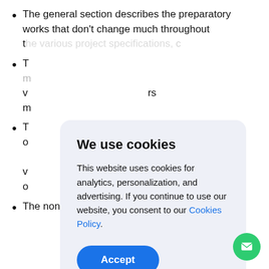The general section describes the preparatory works that don't change much throughout the… [partially obscured]
T… [partially obscured] …rs r…
T… [partially obscured] …ere v… o…
The non-development section addresses
[Figure (screenshot): Cookie consent modal dialog with title 'We use cookies', body text about analytics/personalization/advertising cookies, a 'Cookies Policy' link, and an 'Accept' button]